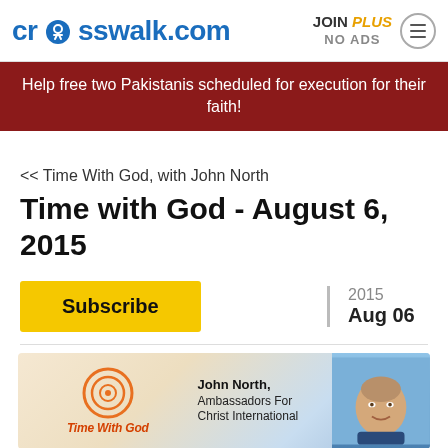crosswalk.com | JOIN PLUS NO ADS
Help free two Pakistanis scheduled for execution for their faith!
<< Time With God, with John North
Time with God - August 6, 2015
Subscribe | 2015 Aug 06
[Figure (illustration): Time With God banner with circular orange logo on left, text 'John North, Ambassadors For Christ International' in center, and a man's face on the right]